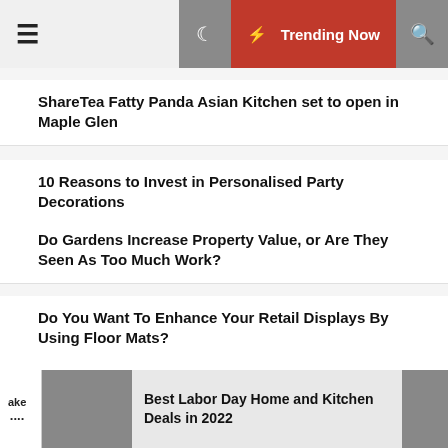☰ 🌙 ⚡ Trending Now 🔍
ShareTea Fatty Panda Asian Kitchen set to open in Maple Glen
10 Reasons to Invest in Personalised Party Decorations
Do Gardens Increase Property Value, or Are They Seen As Too Much Work?
Do You Want To Enhance Your Retail Displays By Using Floor Mats?
3 Ways To Create an Inviting Backyard
Physical Security: A Complete Guide
ake .... Best Labor Day Home and Kitchen Deals in 2022